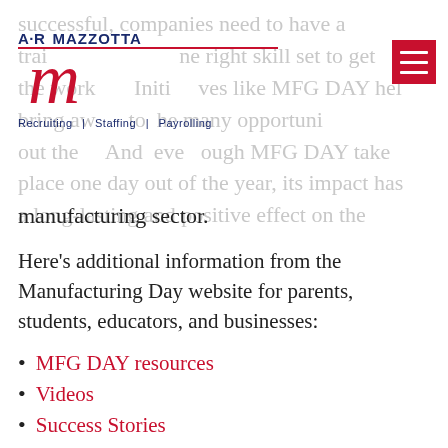[Figure (logo): A.R. Mazzotta logo with stylized red M script and tagline: Recruiting | Staffing | Payrolling]
successful, companies need to have a trained workforce with the right skill set to get the work done. Initiatives like MFG DAY help bring awareness to the many opportunities out there. And even though MFG DAY takes place one day out of the year, its impact has a long-lasting and positive effect on the manufacturing sector.
Here's additional information from the Manufacturing Day website for parents, students, educators, and businesses:
MFG DAY resources
Videos
Success Stories
Photo Galleries